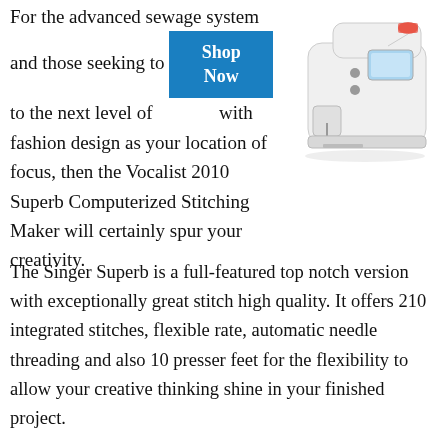For the advanced sewage system and those seeking to take their skills to the next level of creativity with fashion design as your location of focus, then the Vocalist 2010 Superb Computerized Stitching Maker will certainly spur your creativity.
[Figure (photo): White computerized sewing machine with a display screen, positioned in upper right corner of the page.]
The Singer Superb is a full-featured top notch version with exceptionally great stitch high quality. It offers 210 integrated stitches, flexible rate, automatic needle threading and also 10 presser feet for the flexibility to allow your creative thinking shine in your finished project.